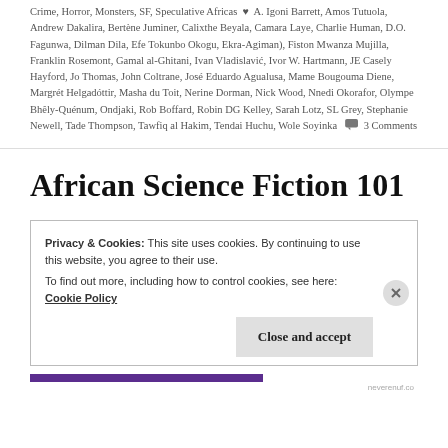Crime, Horror, Monsters, SF, Speculative Africas ♥ A. Igoni Barrett, Amos Tutuola, Andrew Dakalira, Bertène Juminer, Calixthe Beyala, Camara Laye, Charlie Human, D.O. Fagunwa, Dilman Dila, Efe Tokunbo Okogu, Ekra-Agiman), Fiston Mwanza Mujilla, Franklin Rosemont, Gamal al-Ghitani, Ivan Vladislavić, Ivor W. Hartmann, JE Casely Hayford, Jo Thomas, John Coltrane, José Eduardo Agualusa, Mame Bougouma Diene, Margrét Helgadóttir, Masha du Toit, Nerine Dorman, Nick Wood, Nnedi Okorafor, Olympe Bhêly-Quénum, Ondjaki, Rob Boffard, Robin DG Kelley, Sarah Lotz, SL Grey, Stephanie Newell, Tade Thompson, Tawfiq al Hakim, Tendai Huchu, Wole Soyinka 💬 3 Comments
African Science Fiction 101
Privacy & Cookies: This site uses cookies. By continuing to use this website, you agree to their use.
To find out more, including how to control cookies, see here: Cookie Policy
Close and accept